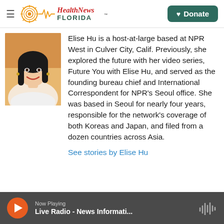Health News Florida
[Figure (photo): Photo of Elise Hu, a smiling woman with long dark hair]
Elise Hu is a host-at-large based at NPR West in Culver City, Calif. Previously, she explored the future with her video series, Future You with Elise Hu, and served as the founding bureau chief and International Correspondent for NPR's Seoul office. She was based in Seoul for nearly four years, responsible for the network's coverage of both Koreas and Japan, and filed from a dozen countries across Asia.
See stories by Elise Hu
Now Playing
Live Radio - News Informati...